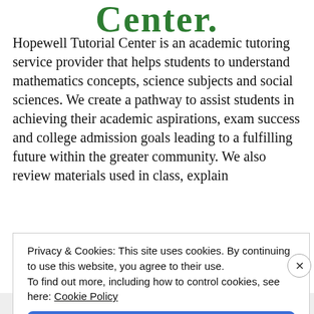Center.
Hopewell Tutorial Center is an academic tutoring service provider that helps students to understand mathematics concepts, science subjects and social sciences. We create a pathway to assist students in achieving their academic aspirations, exam success and college admission goals leading to a fulfilling future within the greater community. We also review materials used in class, explain
Privacy & Cookies: This site uses cookies. By continuing to use this website, you agree to their use.
To find out more, including how to control cookies, see here: Cookie Policy
Close and accept
Advertisements